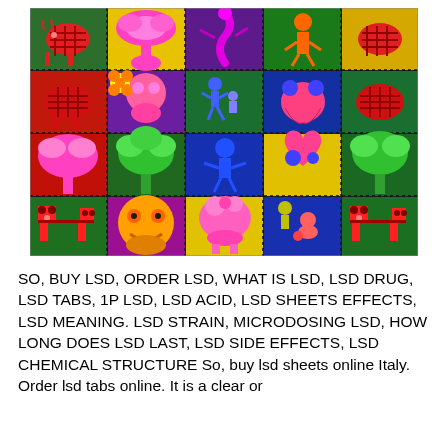[Figure (illustration): Colorful LSD blotter art sheet showing a 5x4 grid of perforated tabs, each with psychedelic cartoon characters on brightly colored backgrounds (red, blue, green, yellow, purple, magenta). Characters include stylized animals, mushrooms, dancing figures, and abstract creatures in vivid neon colors.]
SO, BUY LSD, ORDER LSD, WHAT IS LSD, LSD DRUG, LSD TABS, 1P LSD, LSD ACID, LSD SHEETS EFFECTS, LSD MEANING. LSD STRAIN, MICRODOSING LSD, HOW LONG DOES LSD LAST, LSD SIDE EFFECTS, LSD CHEMICAL STRUCTURE So, buy lsd sheets online Italy. Order lsd tabs online. It is a clear or